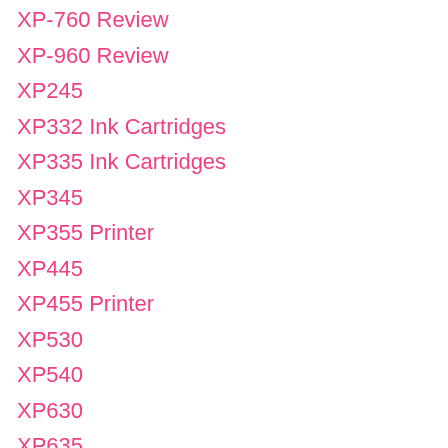XP-760 Review
XP-960 Review
XP245
XP332 Ink Cartridges
XP335 Ink Cartridges
XP345
XP355 Printer
XP445
XP455 Printer
XP530
XP540
XP630
XP635
XP640
XP645